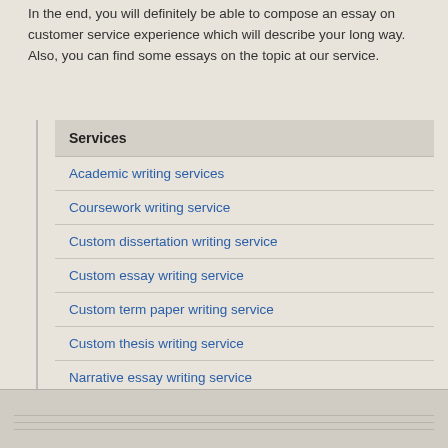In the end, you will definitely be able to compose an essay on customer service experience which will describe your long way. Also, you can find some essays on the topic at our service.
Services
Academic writing services
Coursework writing service
Custom dissertation writing service
Custom essay writing service
Custom term paper writing service
Custom thesis writing service
Narrative essay writing service
Research proposal writing service